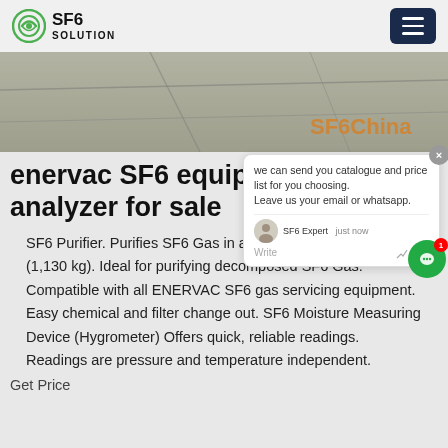[Figure (logo): SF6 Solution logo with green circular icon and bold text SF6 SOLUTION]
[Figure (photo): Hero banner image showing stone/concrete tile surface with SF6China watermark in orange]
enervac SF6 equipment analyzer for sale
SF6 Purifier. Purifies SF6 Gas in amounts up to 2,500 lbs (1,130 kg). Ideal for purifying decomposed SF6 Gas. Compatible with all ENERVAC SF6 gas servicing equipment. Easy chemical and filter change out. SF6 Moisture Measuring Device (Hygrometer) Offers quick, reliable readings. Readings are pressure and temperature independent.
Get Price